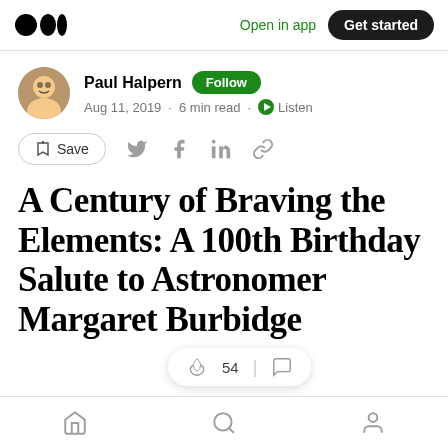Open in app · Get started
Paul Halpern · Follow · Aug 11, 2019 · 6 min read · Listen
Save
A Century of Braving the Elements: A 100th Birthday Salute to Astronomer Margaret Burbidge